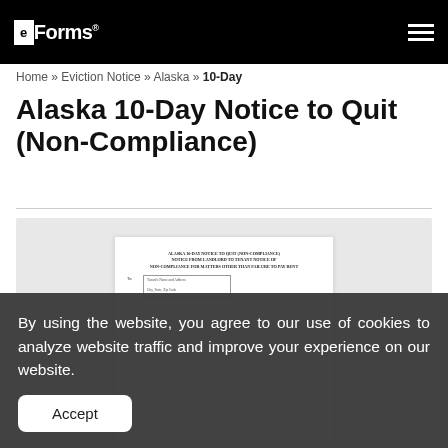eForms (logo)
Home » Eviction Notice » Alaska » 10-Day
Alaska 10-Day Notice to Quit (Non-Compliance)
[Figure (other): Preview of Alaska 10-Day Notice to Quit form document showing title and tenant name/address fields]
By using the website, you agree to our use of cookies to analyze website traffic and improve your experience on our website.
Accept